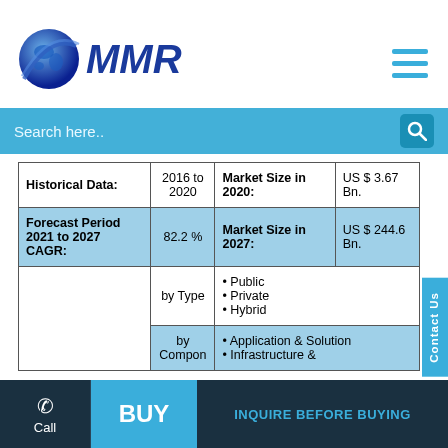[Figure (logo): MMR globe logo with blue globe and MMR text in dark blue italic]
| Historical Data: | 2016 to 2020 | Market Size in 2020: | US $ 3.67 Bn. |
| --- | --- | --- | --- |
| Historical Data: | 2016 to 2020 | Market Size in 2020: | US $ 3.67 Bn. |
| Forecast Period 2021 to 2027 CAGR: | 82.2 % | Market Size in 2027: | US $ 244.6 Bn. |
|  | by Type | • Public • Private • Hybrid |  |
|  | by Compon | • Application & Solution • Infrastructure & |  |